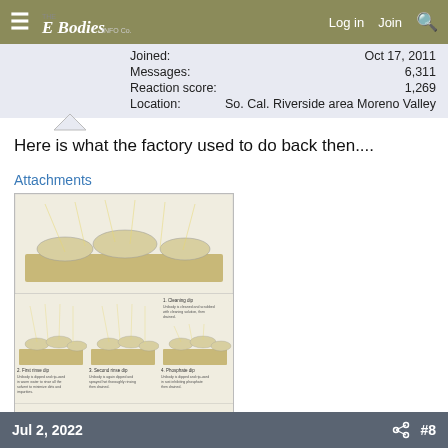The E Bodies Info Co. — Log in Join Search
| Field | Value |
| --- | --- |
| Joined: | Oct 17, 2011 |
| Messages: | 6,311 |
| Reaction score: | 1,269 |
| Location: | So. Cal. Riverside area Moreno Valley |
Here is what the factory used to do back then....
Attachments
[Figure (illustration): Chrysler anti-corrosion dip-and-spray process diagram showing 7 steps: 1. Cleaning dip, 2. First rinse dip, 3. Second rinse dip, 4. Phosphate dip, 5. Coldrinse, 6. Acidrinse, 7. Primer dip. Each panel shows a car body being processed in a tank with spray nozzles above.]
Jul 2, 2022  #8